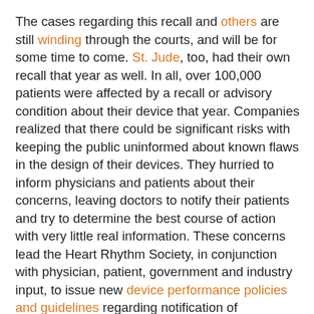The cases regarding this recall and others are still winding through the courts, and will be for some time to come. St. Jude, too, had their own recall that year as well. In all, over 100,000 patients were affected by a recall or advisory condition about their device that year. Companies realized that there could be significant risks with keeping the public uninformed about known flaws in the design of their devices. They hurried to inform physicians and patients about their concerns, leaving doctors to notify their patients and try to determine the best course of action with very little real information. These concerns lead the Heart Rhythm Society, in conjunction with physician, patient, government and industry input, to issue new device performance policies and guidelines regarding notification of physicians and patients. A new defibrillator registry was also implemented to track currently implanted devices to determine the incidence data of defects with defibrillators.
But most important with the former fiasco, implanting physicians like me were sensitized, ever-cautious to take what industry and the FDA tells us with a grain of salt.